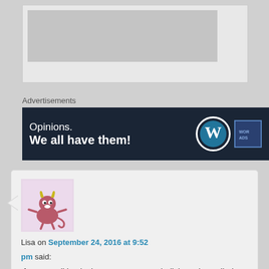[Figure (screenshot): Gray advertisement placeholder box at top of page]
Advertisements
[Figure (screenshot): WordPress advertisement banner: 'Opinions. We all have them!' on dark navy background with WordPress logo and another logo]
[Figure (illustration): Cartoon devil/monster avatar image with horns and tail on light purple background]
Lisa on September 24, 2016 at 9:52 pm said:
If gang-stalking is the same as group bullying, also called mobbing, then it is real. I am being bullied and harassed by a growing group of neighbors (there are several families